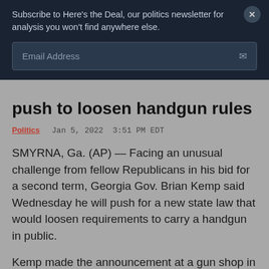Subscribe to Here's the Deal, our politics newsletter for analysis you won't find anywhere else.
Email Address
push to loosen handgun rules
Politics  Jan 5, 2022  3:51 PM EDT
SMYRNA, Ga. (AP) — Facing an unusual challenge from fellow Republicans in his bid for a second term, Georgia Gov. Brian Kemp said Wednesday he will push for a new state law that would loosen requirements to carry a handgun in public.
Kemp made the announcement at a gun shop in